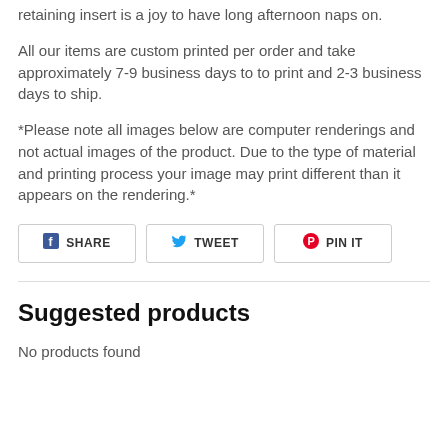retaining insert is a joy to have long afternoon naps on.
All our items are custom printed per order and take approximately 7-9 business days to to print and 2-3 business days to ship.
*Please note all images below are computer renderings and not actual images of the product. Due to the type of material and printing process your image may print different than it appears on the rendering.*
SHARE   TWEET   PIN IT
Suggested products
No products found